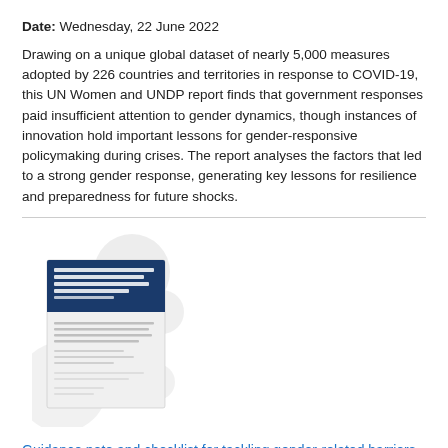Date: Wednesday, 22 June 2022
Drawing on a unique global dataset of nearly 5,000 measures adopted by 226 countries and territories in response to COVID-19, this UN Women and UNDP report finds that government responses paid insufficient attention to gender dynamics, though instances of innovation hold important lessons for gender-responsive policymaking during crises. The report analyses the factors that led to a strong gender response, generating key lessons for resilience and preparedness for future shocks.
[Figure (photo): Cover image of a report document with dark blue header section containing white text, and lighter lower section with lines of text, surrounded by grey circular decorative elements in the background.]
Guidance note and checklist for tackling gender-related barriers to equitable COVID-19 vaccine deployment
Date: Monday, 1 March 2021
The Gender Equality Working Group of the Sustainable Development Goal 3 Global Action Plan on Healthy Living and Well-being for All...